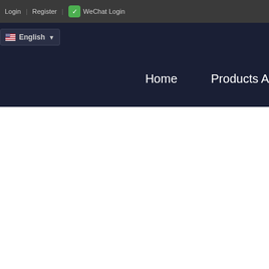Login | Register | WeChat Login
English
Home   Products A